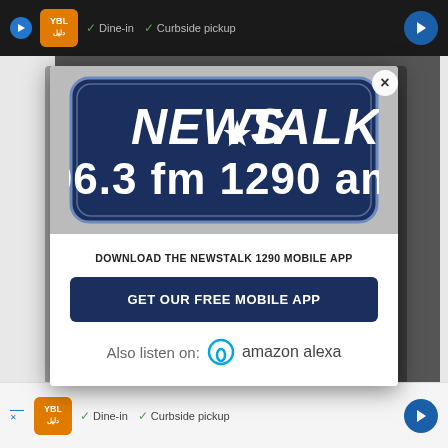[Figure (screenshot): Top advertisement bar showing Yol logo, Dine-in and Curbside pickup checkmarks, and navigation arrow]
[Figure (logo): NewsTalk 96.3 fm 1290 am radio station logo on dark navy background with star]
DOWNLOAD THE NEWSTALK 1290 MOBILE APP
GET OUR FREE MOBILE APP
Also listen on:  amazon alexa
[Figure (screenshot): Bottom advertisement bar showing Yol logo, Dine-in and Curbside pickup checkmarks, and navigation arrow]